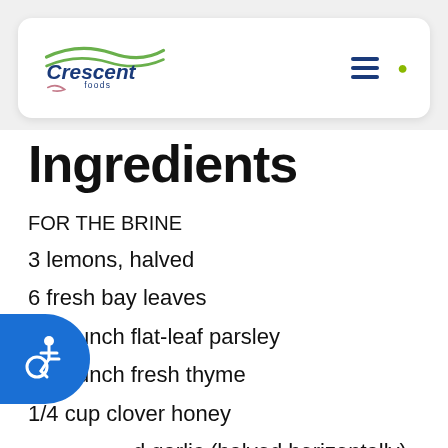Crescent Foods navigation bar
Ingredients
FOR THE BRINE
3 lemons, halved
6 fresh bay leaves
1/2 bunch flat-leaf parsley
1/2 bunch fresh thyme
1/4 cup clover honey
d garlic (halved horizontally)
spoons black peppercorns
1 cup coarse salt